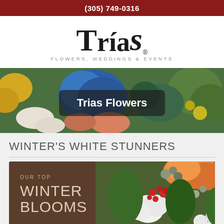(305) 749-0316
[Figure (logo): Trias Flowers, Weddings & Events logo — bold stylized black text 'TRIAS' with an italic flourish on the S, and subtitle 'FLOWERS, WEDDINGS & EVENTS' in small gray-green spaced letters]
[Figure (photo): Hero banner photo of colorful flower arrangement with blue hydrangeas, yellow flowers, green foliage, and roses, with a dark semi-transparent overlay label reading 'Trias Flowers']
WINTER'S WHITE STUNNERS
[Figure (photo): Promotional card with dark brown background on left reading 'OUR TOP WINTER BLOOMS' in light beige uppercase text, and on right a photo of a winter flower arrangement featuring roses, cotton blooms, red berries, and green foliage]